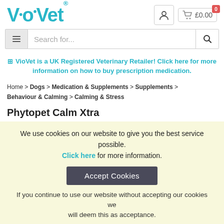[Figure (logo): VioVet logo in teal/cyan color with stylized dots above the i and o]
£0.00
[Figure (screenshot): Search bar with hamburger menu icon on left and search magnifier icon on right, placeholder text 'Search for...']
VioVet is a UK Registered Veterinary Retailer! Click here for more information on how to buy prescription medication.
Home > Dogs > Medication & Supplements > Supplements > Behaviour & Calming > Calming & Stress
Phytopet Calm Xtra
We use cookies on our website to give you the best service possible. Click here for more information.
Accept Cookies
If you continue to use our website without accepting our cookies we will deem this as acceptance.